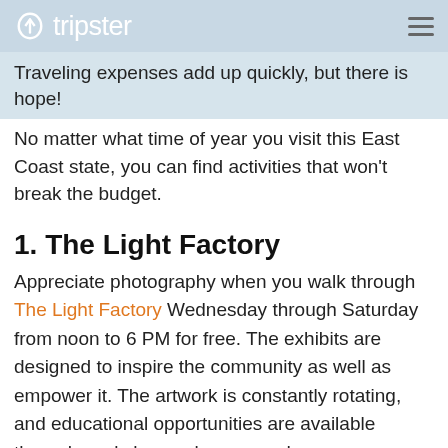tripster
Traveling expenses add up quickly, but there is hope!  No matter what time of year you visit this East Coast state, you can find activities that won't break the budget.
1. The Light Factory
Appreciate photography when you walk through The Light Factory Wednesday through Saturday from noon to 6 PM for free. The exhibits are designed to inspire the community as well as empower it. The artwork is constantly rotating, and educational opportunities are available through workshops, classes, and more.